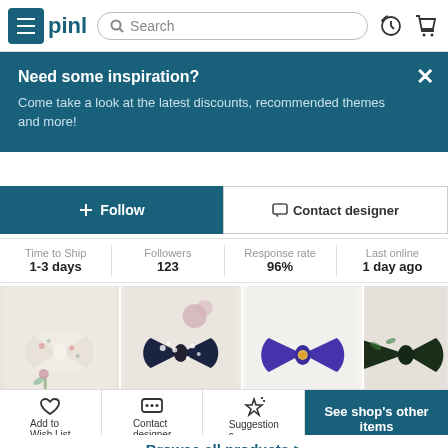[Figure (screenshot): Mobile e-commerce app screenshot showing navigation bar with hamburger menu, logo text 'pinl', search bar, history and cart icons]
[Figure (screenshot): Teal banner overlay: 'Need some inspiration? Come take a look at the latest discounts, recommended themes and more!' with close X button]
Follow
Contact designer
| Time to Ship | Followers | Response rate | Last online |
| --- | --- | --- | --- |
| 1-3 days | 123 | 96% | 1 day ago |
[Figure (photo): Four bow tie product images: cream/floral bow tie, navy/white floral bow tie, purple bow tie, green bow tie]
Browse all products >
Add to Wish List
Contact designer
Suggestions
See shop's other items